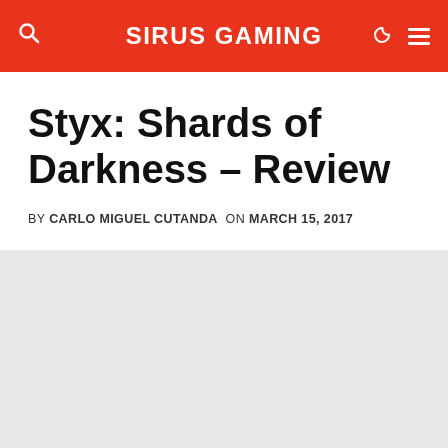SIRUS GAMING
Styx: Shards of Darkness – Review
BY CARLO MIGUEL CUTANDA  ON MARCH 15, 2017
[Figure (photo): Gray placeholder image area below the article byline]